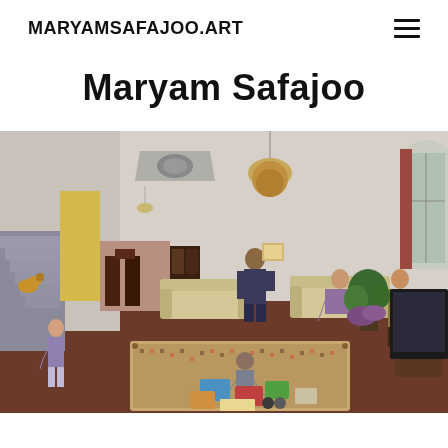MARYAMSAFAJOO.ART
Maryam Safajoo
[Figure (photo): A painting by Maryam Safajoo depicting an interior living room scene with multiple figures. The room features cream-colored sofas, a patterned rug, a chandelier, a large TV, arched windows, houseplants, and a staircase. Several people are shown: one standing man holding artwork, a person seated on the sofa, a man standing near the TV, a child-like figure on the left, and a person crouching on the rug surrounded by scattered objects including books and board games. A cat is visible on the stairs.]